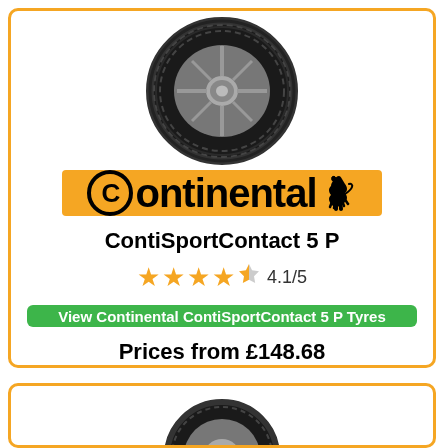[Figure (photo): Continental ContiSportContact 5 P tyre image showing the tyre with silver alloy wheel hub]
[Figure (logo): Continental brand logo - orange/amber rectangle with 'Continental' text in black bold font with a horse icon, and the C in a circle]
ContiSportContact 5 P
4.1/5
View Continental ContiSportContact 5 P Tyres
Prices from £148.68
[Figure (photo): Partial tyre image at bottom of page, cropped, second product card beginning]